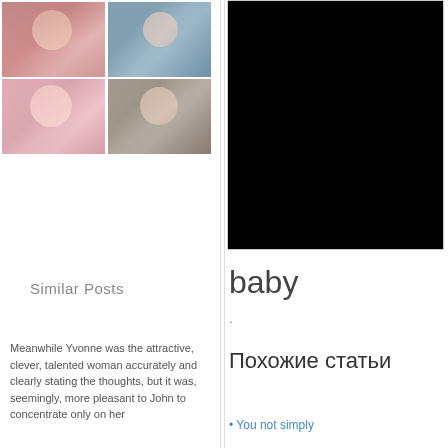[Figure (photo): Grid of four baby photos in top-left column]
Similar Posts
Meanwhile Yvonne was the attractive, clever, talented woman accurately and clearly stating the thoughts, but it was, seemingly, more pleasant to John to concentrate only on her
[Figure (photo): Large black rectangle placeholder for video/image in right column]
baby
.
Похожие статьи
You not simply